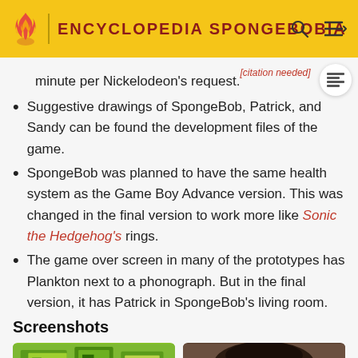ENCYCLOPEDIA SPONGEBOBIA
minute per Nickelodeon's request.[citation needed]
Suggestive drawings of SpongeBob, Patrick, and Sandy can be found the development files of the game.
SpongeBob was planned to have the same health system as the Game Boy Advance version. This was changed in the final version to work more like Sonic the Hedgehog's rings.
The game over screen in many of the prototypes has Plankton next to a phonograph. But in the final version, it has Patrick in SpongeBob's living room.
Screenshots
[Figure (screenshot): Screenshot of a game with green/yellow pixel art graphics]
[Figure (photo): Photo of a person with dark curly hair]